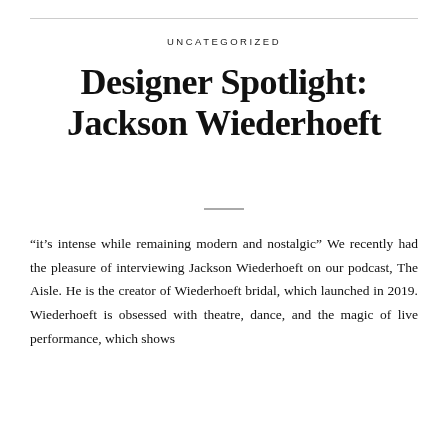UNCATEGORIZED
Designer Spotlight: Jackson Wiederhoeft
“it’s intense while remaining modern and nostalgic” We recently had the pleasure of interviewing Jackson Wiederhoeft on our podcast, The Aisle. He is the creator of Wiederhoeft bridal, which launched in 2019. Wiederhoeft is obsessed with theatre, dance, and the magic of live performance, which shows